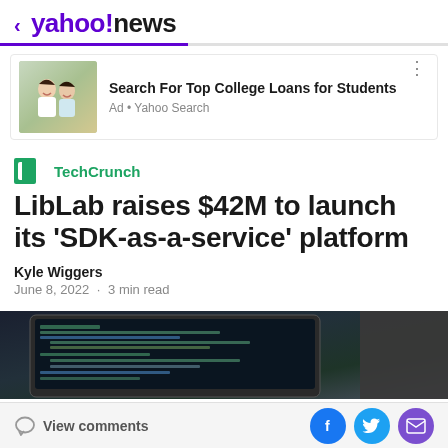< yahoo!news
[Figure (photo): Two women laughing outdoors - advertisement image for college loans]
Search For Top College Loans for Students
Ad • Yahoo Search
[Figure (logo): TechCrunch logo - TC icon in green with TechCrunch text]
LibLab raises $42M to launch its 'SDK-as-a-service' platform
Kyle Wiggers
June 8, 2022  ·  3 min read
[Figure (photo): Laptop screen showing code/programming interface in dark theme]
View comments